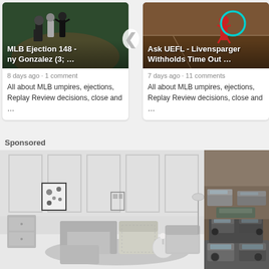[Figure (photo): Card with baseball ejection image - MLB Ejection 148 - ny Gonzalez (3; ...]
MLB Ejection 148 - ny Gonzalez (3; …
8 days ago · 1 comment
All about MLB umpires, ejections, Replay Review decisions, close and …
[Figure (photo): Card with baseball image and teal circle - Ask UEFL - Livensparger Withholds Time Out ...]
Ask UEFL - Livensparger Withholds Time Out …
7 days ago · 11 comments
All about MLB umpires, ejections, Replay Review decisions, close and …
Sponsored
[Figure (photo): Sponsored image of a modern living room with gray sectional sofa, ottoman, armchairs, framed art on wall]
[Figure (photo): Sponsored image of a junkyard with stacked old cars]